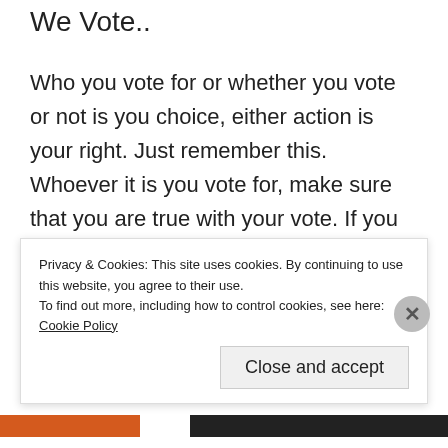We Vote..
Who you vote for or whether you vote or not is you choice, either action is your right. Just remember this. Whoever it is you vote for, make sure that you are true with your vote. If you vote for change remember that with change comes resistance and if you vote for stability, remember that absolute power corrupts absolutely and no improvement or greatness was ever achieved by colouring
Privacy & Cookies: This site uses cookies. By continuing to use this website, you agree to their use.
To find out more, including how to control cookies, see here: Cookie Policy
Close and accept